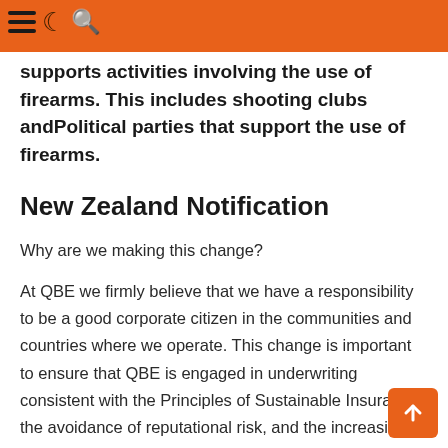firearms, or which conducts or otherwise supports activities involving the use of firearms. This includes shooting clubs andPolitical parties that support the use of firearms.
New Zealand Notification
Why are we making this change?
At QBE we firmly believe that we have a responsibility to be a good corporate citizen in the communities and countries where we operate. This change is important to ensure that QBE is engaged in underwriting consistent with the Principles of Sustainable Insurance, the avoidance of reputational risk, and the increasing investor and